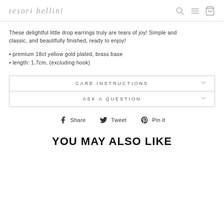tesori bellini
These delightful little drop earrings truly are tears of joy! Simple and classic, and beautifully finished, ready to enjoy!
premium 18ct yellow gold plated, brass base
length: 1.7cm, (excluding hook)
CARE INSTRUCTIONS
ASK A QUESTION
Share   Tweet   Pin it
YOU MAY ALSO LIKE